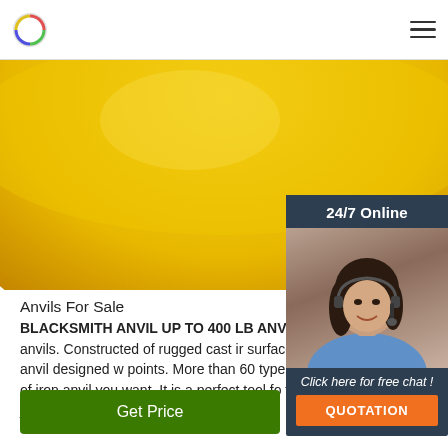Logo | Navigation menu
[Figure (photo): Yellow curved surface / bowl visible at the top of the page]
Anvils For Sale
BLACKSMITH ANVIL UP TO 400 LB ANVIL FOR SAL blacksmith anvils. Constructed of rugged cast ir surface has fully polished. Each anvil designed w points. More than 60 types of anvils for sale, no kind of iron anvil you want. It is a perfect tool fo flattening, forging and jewelry ...
[Figure (photo): 24/7 Online chat widget showing a woman with headset smiling, with 'Click here for free chat!' text and QUOTATION button]
Get Price